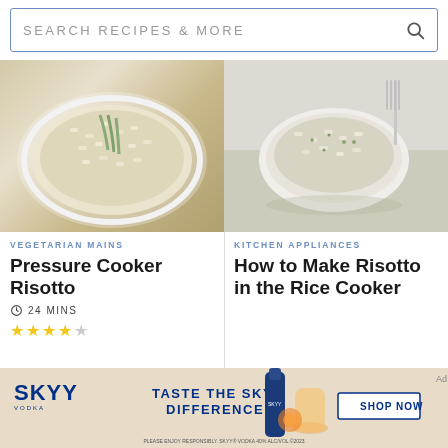[Figure (screenshot): Search bar with text SEARCH RECIPES & MORE and a magnifying glass icon on the right]
[Figure (photo): Overhead photo of pressure cooker risotto on a white plate with asparagus]
VEGETARIAN MAINS
Pressure Cooker Risotto
24 MINS
[Figure (other): 4 out of 5 star rating (yellow stars)]
[Figure (photo): Overhead photo of risotto in a white bowl with a fork, herbs on top]
KITCHEN APPLIANCES
How to Make Risotto in the Rice Cooker
[Figure (photo): Sliced chicken breast on a bed of rice or risotto with herbs]
[Figure (photo): Dark bowl of risotto with green herbs/spinach and a spoon, on a striped cloth]
[Figure (photo): SKYY Vodka advertisement banner: TASTE THE SKYY DIFFERENCE with bottle and SHOP NOW button]